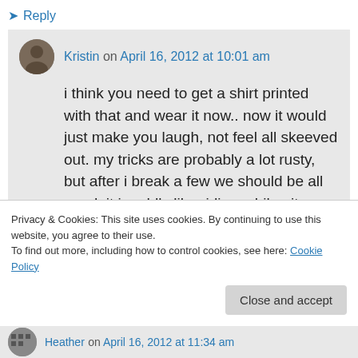↳ Reply
Kristin on April 16, 2012 at 10:01 am
i think you need to get a shirt printed with that and wear it now.. now it would just make you laugh, not feel all skeeved out. my tricks are probably a lot rusty, but after i break a few we should be all good. it is oddly like riding a bike, it always comes back!
Privacy & Cookies: This site uses cookies. By continuing to use this website, you agree to their use.
To find out more, including how to control cookies, see here: Cookie Policy
Close and accept
Heather on April 16, 2012 at 11:34 am